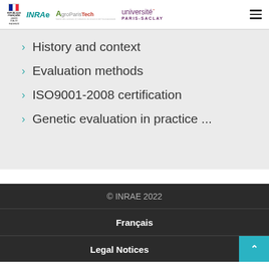REPUBLIQUE FRANÇAISE | INRAE | AgroParisTech | Université Paris-Saclay
History and context
Evaluation methods
ISO9001-2008 certification
Genetic evaluation in practice ...
© INRAE 2022
Français
Legal Notices